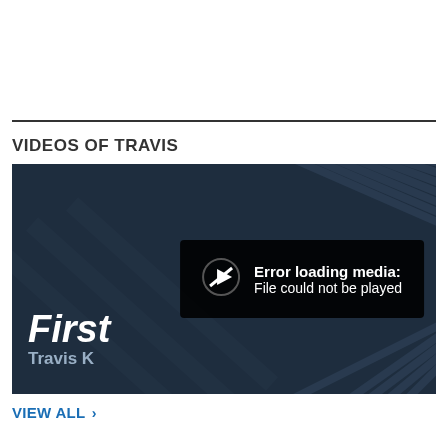VIDEOS OF TRAVIS
[Figure (screenshot): Video player showing dark diagonal background with 'First' and 'Travis' text visible, overlaid with an error box reading 'Error loading media: File could not be played']
VIEW ALL >